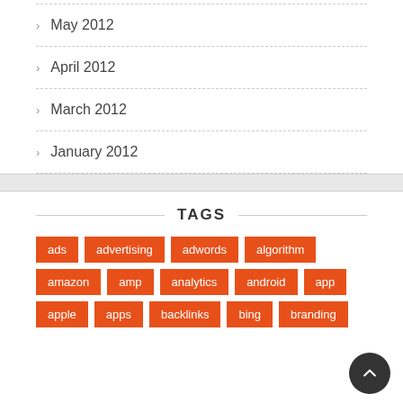May 2012
April 2012
March 2012
January 2012
TAGS
ads
advertising
adwords
algorithm
amazon
amp
analytics
android
app
apple
apps
backlinks
bing
branding